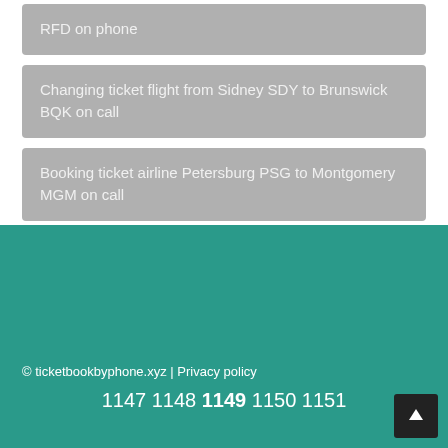RFD on phone
Changing ticket flight from Sidney SDY to Brunswick BQK on call
Booking ticket airline Petersburg PSG to Montgomery MGM on call
© ticketbookbyphone.xyz | Privacy policy
1147 1148 1149 1150 1151